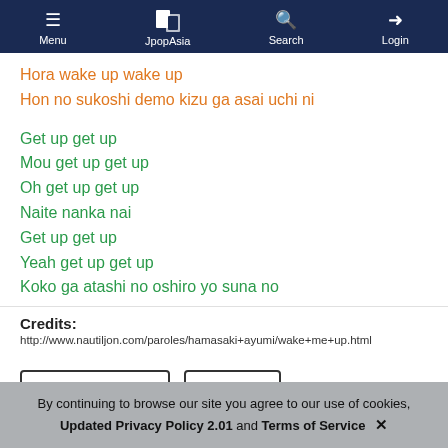Menu | JpopAsia | Search | Login
Hora wake up wake up
Hon no sukoshi demo kizu ga asai uchi ni
Get up get up
Mou get up get up
Oh get up get up
Naite nanka nai
Get up get up
Yeah get up get up
Koko ga atashi no oshiro yo suna no
Credits:
http://www.nautiljon.com/paroles/hamasaki+ayumi/wake+me+up.html
Edit Romaji Lyric   Report
By continuing to browse our site you agree to our use of cookies, Updated Privacy Policy 2.01 and Terms of Service ✕